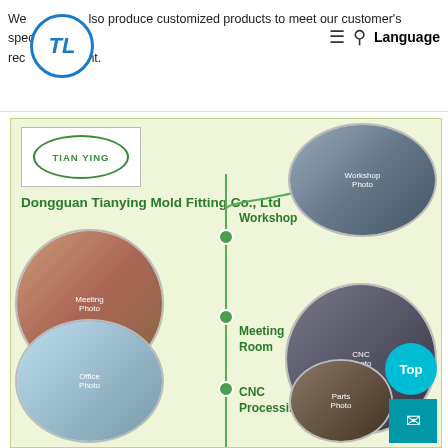We also produce customized products to meet our customer's special requirement.
[Figure (logo): TL circular logo in blue]
Language
[Figure (illustration): Company overview illustration for Dongguan Tianying Mold Fitting Co., Ltd showing TIAN YING logo, company name, and circular photos of Workshop, Meeting Room, and CNC Processing areas connected by a vertical green line with dots]
Dongguan Tianying Mold Fitting Co., Ltd
Workshop
Meeting Room
CNC Processing